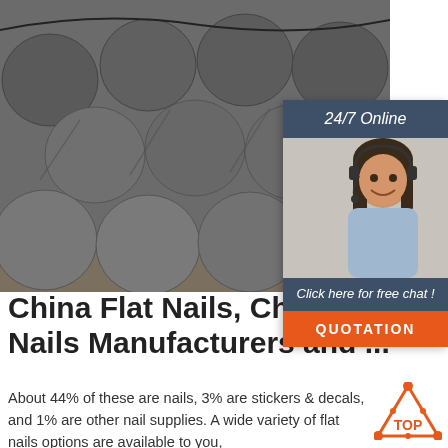[Figure (photo): Photo of bundled steel round bars/rods stacked together, dark grey metallic color]
[Figure (infographic): 24/7 Online chat widget with a smiling woman wearing a headset, dark blue header, 'Click here for free chat!' message, and an orange QUOTATION button]
China Flat Nails, China Flat Nails Manufacturers and ...
About 44% of these are nails, 3% are stickers & decals, and 1% are other nail supplies. A wide variety of flat nails options are available to you,
[Figure (logo): Top orange triangular logo with dots and 'TOP' text]